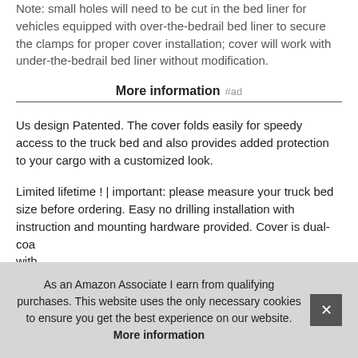Note: small holes will need to be cut in the bed liner for vehicles equipped with over-the-bedrail bed liner to secure the clamps for proper cover installation; cover will work with under-the-bedrail bed liner without modification.
More information #ad
Us design Patented. The cover folds easily for speedy access to the truck bed and also provides added protection to your cargo with a customized look.
Limited lifetime ! | important: please measure your truck bed size before ordering. Easy no drilling installation with instruction and mounting hardware provided. Cover is dual-coat... with... stai... dura...
As an Amazon Associate I earn from qualifying purchases. This website uses the only necessary cookies to ensure you get the best experience on our website. More information